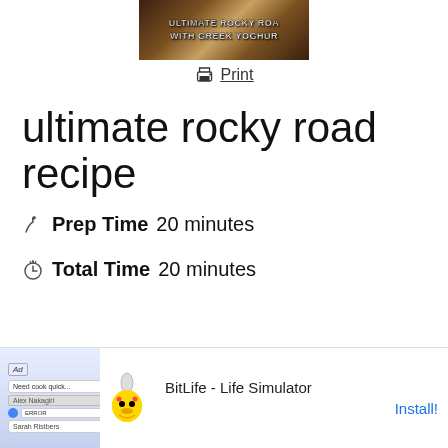[Figure (photo): Partial photo of Ultimate Rocky Road with Greek Yoghurt dish, showing text overlay on chocolate treat]
Print
ultimate rocky road recipe
Prep Time 20 minutes
Total Time 20 minutes
[Figure (other): Advertisement banner: BitLife - Life Simulator with Install button]